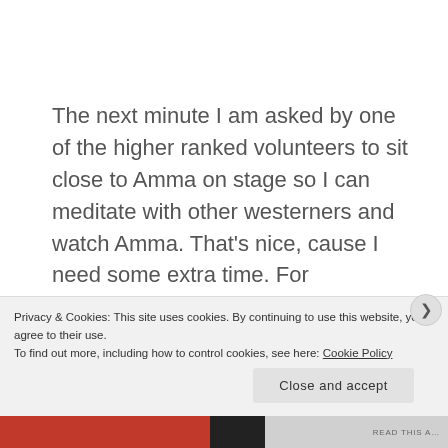The next minute I am asked by one of the higher ranked volunteers to sit close to Amma on stage so I can meditate with other westerners and watch Amma. That's nice, cause I need some extra time. For processing what? I don't know. I just don't know. I get to watch other people getting hugged and stay long enough on stage so that I can see Jarred, then Sukhraj and then Rich get their blessings. Rich is lucky too, Amma holds him for at least a minute. Some people offer food to Amma, which she takes
Privacy & Cookies: This site uses cookies. By continuing to use this website, you agree to their use.
To find out more, including how to control cookies, see here: Cookie Policy
Close and accept